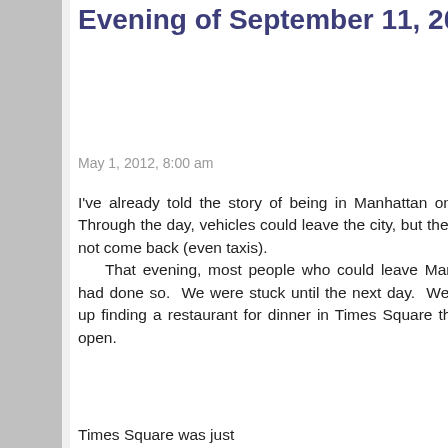Evening of September 11, 2001
May 1, 2012, 8:00 am
I've already told the story of being in Manhattan on 9/11. Through the day, vehicles could leave the city, but they could not come back (even taxis). That evening, most people who could leave Manhattan had done so. We were stuck until the next day. We ended up finding a restaurant for dinner in Times Square that was open.
Times Square was just